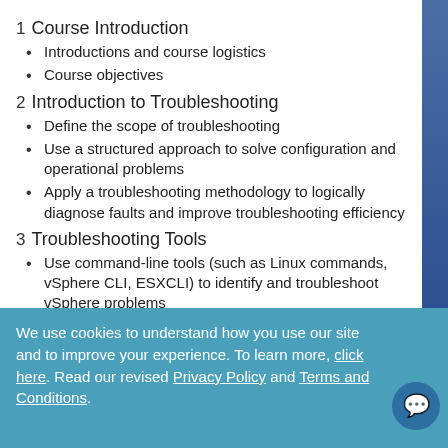1 Course Introduction
Introductions and course logistics
Course objectives
2 Introduction to Troubleshooting
Define the scope of troubleshooting
Use a structured approach to solve configuration and operational problems
Apply a troubleshooting methodology to logically diagnose faults and improve troubleshooting efficiency
3 Troubleshooting Tools
Use command-line tools (such as Linux commands, vSphere CLI, ESXCLI) to identify and troubleshoot vSphere problems
Identify important vSphere log files and interpret
We use cookies to understand how you use our site and to improve your experience. To learn more, click here. Read our revised Privacy Policy and Terms and Conditions.